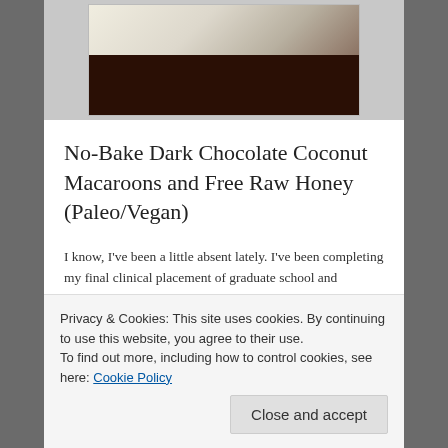[Figure (photo): Photo of dark chocolate coconut macaroons on a plate, partially visible at top of page]
No-Bake Dark Chocolate Coconut Macaroons and Free Raw Honey (Paleo/Vegan)
I know, I've been a little absent lately. I've been completing my final clinical placement of graduate school and studying for the PRAXIS Speech-Language Pathology licensure exam. And today…I PASSED! So let's celebrate with some macaroons,
Privacy & Cookies: This site uses cookies. By continuing to use this website, you agree to their use.
To find out more, including how to control cookies, see here: Cookie Policy
Close and accept